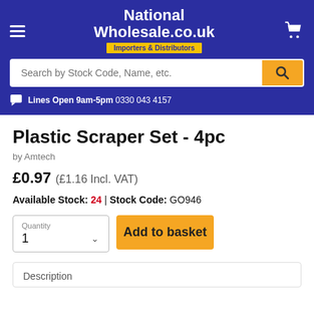National Wholesale.co.uk — Importers & Distributors
Search by Stock Code, Name, etc.
Lines Open 9am-5pm 0330 043 4157
Plastic Scraper Set - 4pc
by Amtech
£0.97 (£1.16 Incl. VAT)
Available Stock: 24 | Stock Code: GO946
Quantity
1
Add to basket
Description